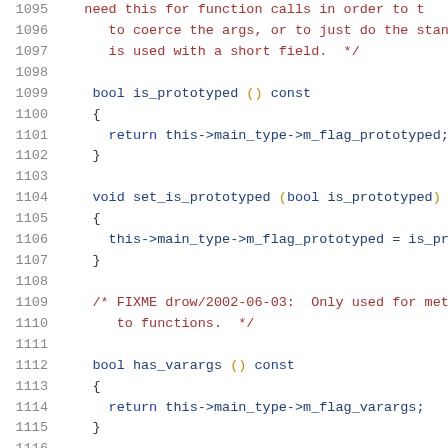Source code listing lines 1095-1116, C++ code with comments and method definitions for is_prototyped and has_varargs functions.